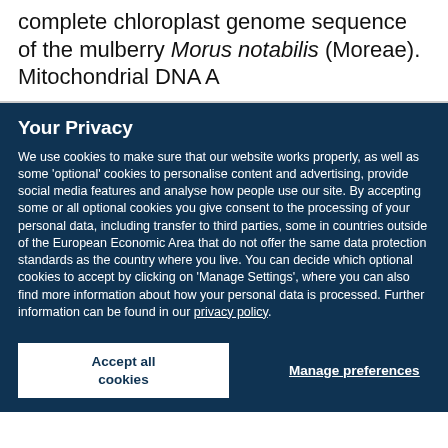complete chloroplast genome sequence of the mulberry Morus notabilis (Moreae). Mitochondrial DNA A
Your Privacy
We use cookies to make sure that our website works properly, as well as some 'optional' cookies to personalise content and advertising, provide social media features and analyse how people use our site. By accepting some or all optional cookies you give consent to the processing of your personal data, including transfer to third parties, some in countries outside of the European Economic Area that do not offer the same data protection standards as the country where you live. You can decide which optional cookies to accept by clicking on 'Manage Settings', where you can also find more information about how your personal data is processed. Further information can be found in our privacy policy.
Accept all cookies
Manage preferences